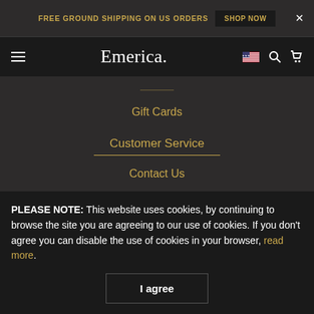FREE GROUND SHIPPING ON US ORDERS  SHOP NOW  ×
Emerica.
Gift Cards
Customer Service
Contact Us
Help/FAQ
Shipping
International Shipping
PLEASE NOTE: This website uses cookies, by continuing to browse the site you are agreeing to our use of cookies. If you don't agree you can disable the use of cookies in your browser, read more.
I agree